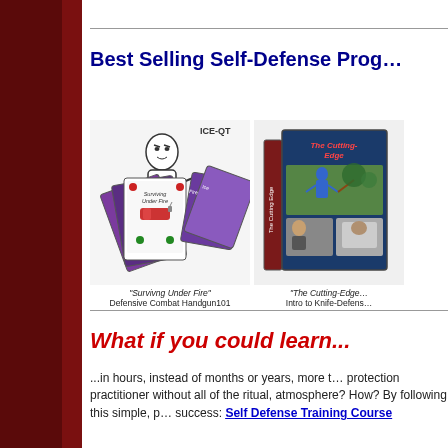Best Selling Self-Defense Prog...
[Figure (illustration): Two self-defense product images side by side. Left: 'Surviving Under Fire' Defensive Combat Handgun101 - shows a cartoon man holding cards/materials with ICE-QT label. Right: 'The Cutting-Edge...' Intro to Knife-Defense - shows a box set with photos of martial arts training.]
What if you could learn...
...in hours, instead of months or years, more than a protection practitioner without all of the ritual, atmosphere? How? By following this simple, p... success: Self Defense Training Course